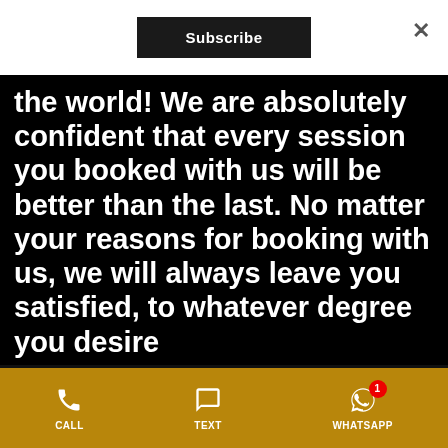Subscribe
the world! We are absolutely confident that every session you booked with us will be better than the last. No matter your reasons for booking with us, we will always leave you satisfied, to whatever degree you desire
We use cookies to enhance your experience while using our website. To learn more about the cookies we use and the data we collect, please check our Privacy Settings.
CALL   TEXT   WHATSAPP